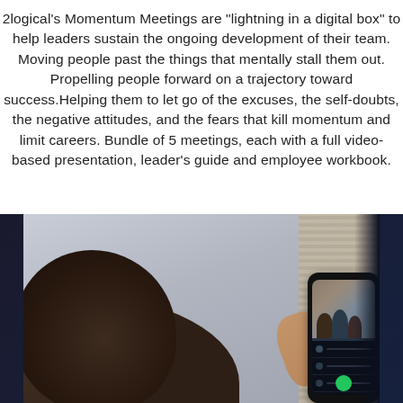2logical's Momentum Meetings are "lightning in a digital box" to help leaders sustain the ongoing development of their team. Moving people past the things that mentally stall them out. Propelling people forward on a trajectory toward success.Helping them to let go of the excuses, the self-doubts, the negative attitudes, and the fears that kill momentum and limit careers. Bundle of 5 meetings, each with a full video-based presentation, leader's guide and employee workbook.
[Figure (photo): Person viewed from behind holding a smartphone showing a video call with multiple people visible on screen. Background is a gray-blue wall with a textured curtain/blind on the right side.]